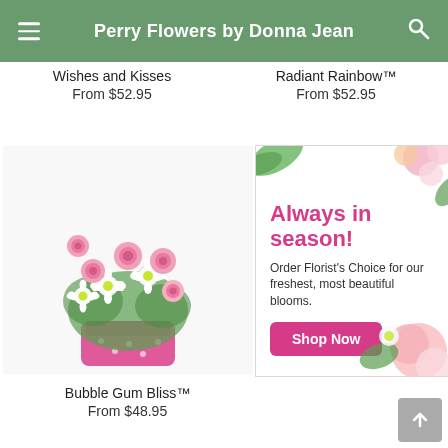Perry Flowers by Donna Jean
Wishes and Kisses
From $52.95
Radiant Rainbow™
From $52.95
[Figure (photo): Flower arrangement in a pink polka-dot vase with pink roses and white daisies — Bubble Gum Bliss product photo]
[Figure (infographic): Always in season! Order Florist's Choice for our freshest, most beautiful blooms. Shop Now button with pink flower background]
Bubble Gum Bliss™
From $48.95